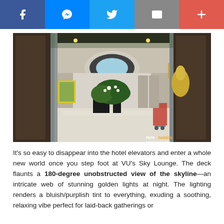[Figure (other): Social media sharing bar with Facebook, Messenger, Twitter, Email, and More buttons]
[Figure (photo): Hotel lobby interior showing a grand entrance with marble floors, dark wood-paneled walls, circular ceiling light feature, large floral arrangement in the center, and a gold decorative sculpture on the right. Photo credit: PEPE SAMSON PHOTOGRAPHY]
It's so easy to disappear into the hotel elevators and enter a whole new world once you step foot at VU's Sky Lounge. The deck flaunts a 180-degree unobstructed view of the skyline—an intricate web of stunning golden lights at night. The lighting renders a bluish/purplish tint to everything, exuding a soothing, relaxing vibe perfect for laid-back gatherings or